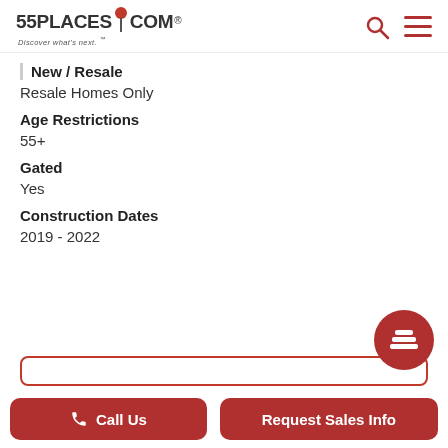[Figure (logo): 55PLACES.COM logo with red map pin and tagline 'Discover what's next.']
New / Resale
Resale Homes Only
Age Restrictions
55+
Gated
Yes
Construction Dates
2019 - 2022
Call Us
Request Sales Info